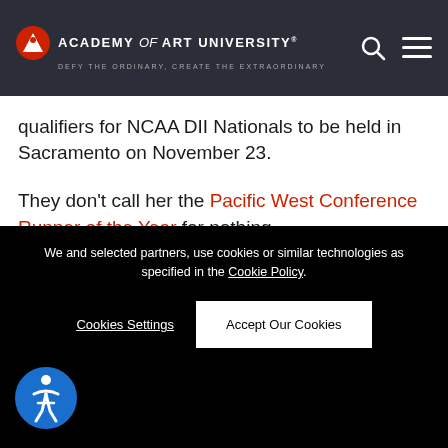ACADEMY of ART UNIVERSITY® — DEFY THE ORDINARY, CREATE THE EXTRAORDINARY
qualifiers for NCAA DII Nationals to be held in Sacramento on November 23.
They don't call her the Pacific West Conference Runner of the Year for nothing.
Stack 'em Up. Stack 'em Up. Volleyball Posts Seventh
We and selected partners, use cookies or similar technologies as specified in the Cookie Policy
Cookies Settings
Accept Our Cookies